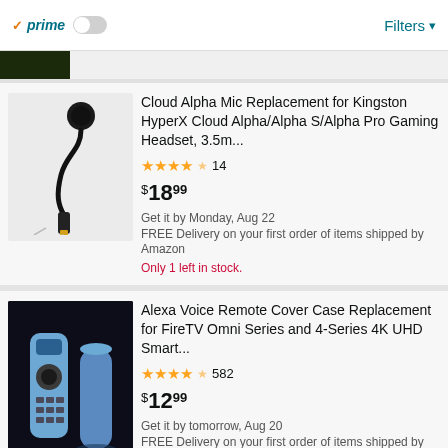prime | Filters
[Figure (screenshot): Partially visible product image at top]
Cloud Alpha Mic Replacement for Kingston HyperX Cloud Alpha/Alpha S/Alpha Pro Gaming Headset, 3.5m...
★★★★½ 14
$18.99
Get it by Monday, Aug 22
FREE Delivery on your first order of items shipped by Amazon
Only 1 left in stock.
Alexa Voice Remote Cover Case Replacement for FireTV Omni Series and 4-Series 4K UHD Smart...
★★★★½ 582
$12.99
Get it by tomorrow, Aug 20
FREE Delivery on your first order of items shipped by Amazon